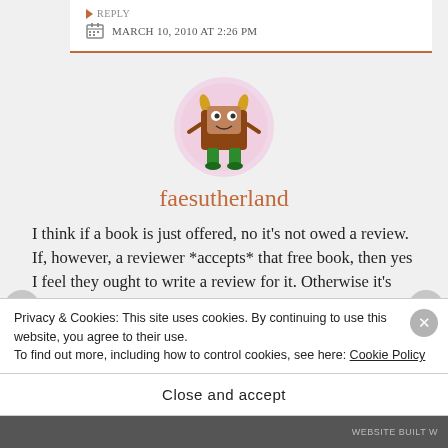REPLY
MARCH 10, 2010 AT 2:26 PM
[Figure (illustration): Cartoon monster avatar: brown boxy body with horns, white face, green legs, circular pink background]
faesutherland
I think if a book is just offered, no it's not owed a review. If, however, a reviewer *accepts* that free book, then yes I feel they ought to write a review for it. Otherwise it's something for nothing. Authors only get so many author copies so if one is accepted for review, we do
Privacy & Cookies: This site uses cookies. By continuing to use this website, you agree to their use.
To find out more, including how to control cookies, see here: Cookie Policy
Close and accept